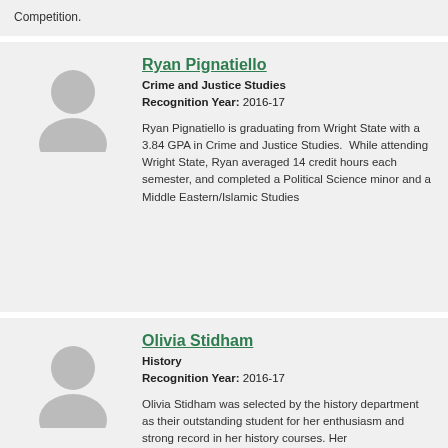Competition.
Ryan Pignatiello
Crime and Justice Studies
Recognition Year: 2016-17
Ryan Pignatiello is graduating from Wright State with a 3.84 GPA in Crime and Justice Studies.  While attending Wright State, Ryan averaged 14 credit hours each semester, and completed a Political Science minor and a Middle Eastern/Islamic Studies
Olivia Stidham
History
Recognition Year: 2016-17
Olivia Stidham was selected by the history department as their outstanding student for her enthusiasm and strong record in her history courses. Her